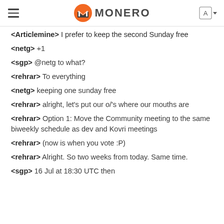MONERO
<Articlemine> I prefer to keep the second Sunday free
<netg> +1
<sgp> @netg to what?
<rehrar> To everything
<netg> keeping one sunday free
<rehrar> alright, let's put our o/'s where our mouths are
<rehrar> Option 1: Move the Community meeting to the same biweekly schedule as dev and Kovri meetings
<rehrar> (now is when you vote :P)
<rehrar> Alright. So two weeks from today. Same time.
<sgp> 16 Jul at 18:30 UTC then